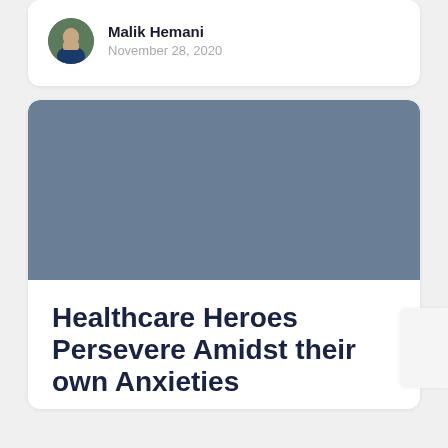Malik Hemani
November 28, 2020
[Figure (photo): Blue-gray placeholder image for article thumbnail]
Healthcare Heroes Persevere Amidst their own Anxieties